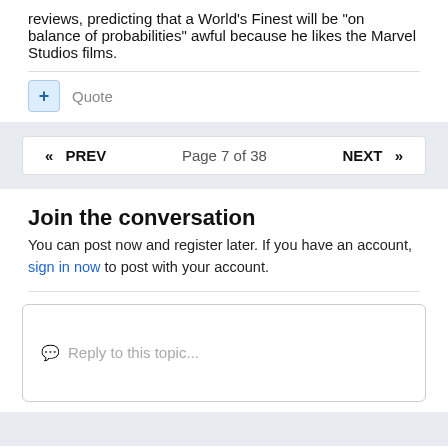reviews, predicting that a World's Finest will be "on balance of probabilities" awful because he likes the Marvel Studios films.
+ Quote
« PREV   Page 7 of 38   NEXT »
Join the conversation
You can post now and register later. If you have an account, sign in now to post with your account.
Reply to this topic...